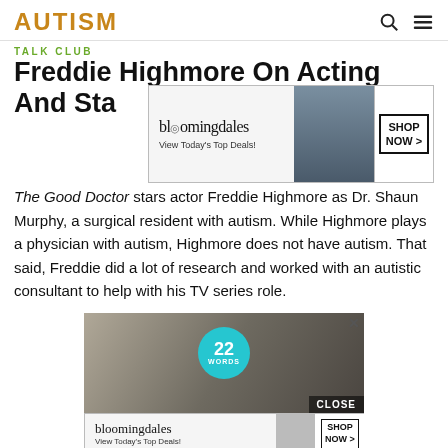AUTISM
TALK CLUB
Freddie Highmore On Acting And Staying...
[Figure (photo): Bloomingdale's advertisement banner with model in hat. Text: bloomingdales, View Today's Top Deals!, SHOP NOW >]
The Good Doctor stars actor Freddie Highmore as Dr. Shaun Murphy, a surgical resident with autism. While Highmore plays a physician with autism, Highmore does not have autism. That said, Freddie did a lot of research and worked with an autistic consultant to help with his TV series role.
[Figure (photo): 22 Words advertisement with close button showing a fist holding a gaming controller. Below: Bloomingdale's ad banner with model in hat. Text: bloomingdales, View Today's Top Deals!, SHOP NOW >]